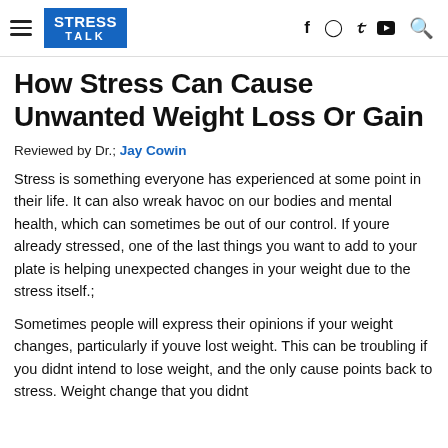STRESS TALK
How Stress Can Cause Unwanted Weight Loss Or Gain
Reviewed by Dr.; Jay Cowin
Stress is something everyone has experienced at some point in their life. It can also wreak havoc on our bodies and mental health, which can sometimes be out of our control. If youre already stressed, one of the last things you want to add to your plate is helping unexpected changes in your weight due to the stress itself.;
Sometimes people will express their opinions if your weight changes, particularly if youve lost weight. This can be troubling if you didnt intend to lose weight, and the only cause points back to stress. Weight change that you didnt cause to treat the most about that and if ounces of